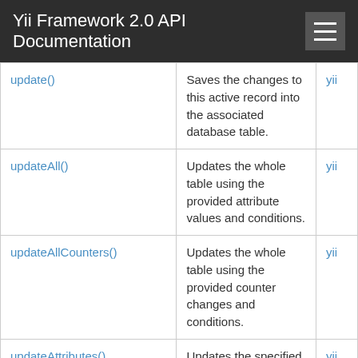Yii Framework 2.0 API Documentation
| Method | Description | Defined By |
| --- | --- | --- |
| update() | Saves the changes to this active record into the associated database table. | yii |
| updateAll() | Updates the whole table using the provided attribute values and conditions. | yii |
| updateAllCounters() | Updates the whole table using the provided counter changes and conditions. | yii |
| updateAttributes() | Updates the specified attributes. | yii |
| updateCounters() | Updates one or several counter columns for the current AR object. | yii |
| validate() | Performs the data... | yii |